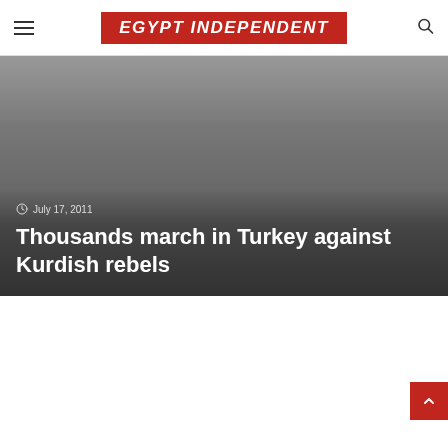EGYPT INDEPENDENT
[Figure (photo): Gray background hero image with gradient overlay showing article date and headline]
July 17, 2011
Thousands march in Turkey against Kurdish rebels